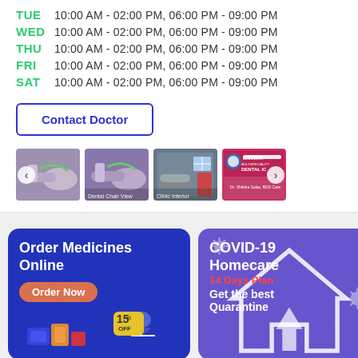TUE  10:00 AM - 02:00 PM, 06:00 PM - 09:00 PM
WED  10:00 AM - 02:00 PM, 06:00 PM - 09:00 PM
THU  10:00 AM - 02:00 PM, 06:00 PM - 09:00 PM
FRI  10:00 AM - 02:00 PM, 06:00 PM - 09:00 PM
SAT  10:00 AM - 02:00 PM, 06:00 PM - 09:00 PM
Contact Doctor
[Figure (photo): Four thumbnail photos of a dental clinic interior and clinic signboard for Mahanya Multispeciality Dental Clinic]
[Figure (infographic): Order Medicines Online banner - blue background, Order Now button, 15% OFF badge]
[Figure (infographic): COVID-19 Homecare 14 Days Plan - Get the best Quarantine banner with house outline and virus icons]